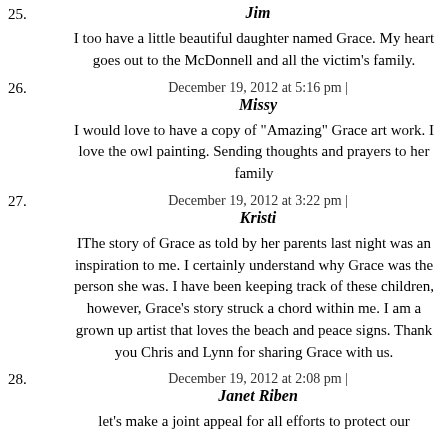25. Jim
I too have a little beautiful daughter named Grace. My heart goes out to the McDonnell and all the victim's family.
December 19, 2012 at 5:16 pm | 26. Missy
I would love to have a copy of "Amazing" Grace art work. I love the owl painting. Sending thoughts and prayers to her family
December 19, 2012 at 3:22 pm | 27. Kristi
IThe story of Grace as told by her parents last night was an inspiration to me. I certainly understand why Grace was the person she was. I have been keeping track of these children, however, Grace's story struck a chord within me. I am a grown up artist that loves the beach and peace signs. Thank you Chris and Lynn for sharing Grace with us.
December 19, 2012 at 2:08 pm | 28. Janet Riben
let's make a joint appeal for all efforts to protect our